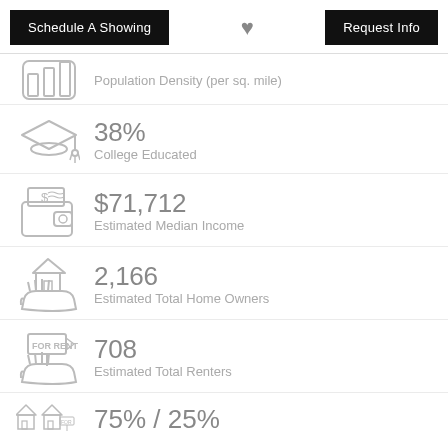Schedule A Showing | [heart] | Request Info
Population Density (per sq. mile)
38% College Educated
$71,712 Estimated Median Income
2,166 Estimated Total Home Owners
708 Estimated Total Renters
75% / 25%